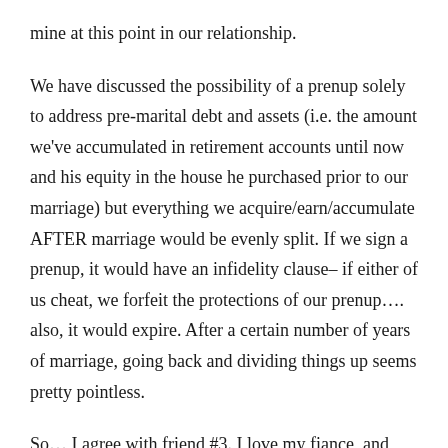mine at this point in our relationship.
We have discussed the possibility of a prenup solely to address pre-marital debt and assets (i.e. the amount we've accumulated in retirement accounts until now and his equity in the house he purchased prior to our marriage) but everything we acquire/earn/accumulate AFTER marriage would be evenly split. If we sign a prenup, it would have an infidelity clause– if either of us cheat, we forfeit the protections of our prenup…. also, it would expire. After a certain number of years of marriage, going back and dividing things up seems pretty pointless.
So… I agree with friend #3. I love my fiance, and don't think we'll get a divorce. But, being realistic (and being a lawyer)… why not make a divorce as painless as possible if it does happen?